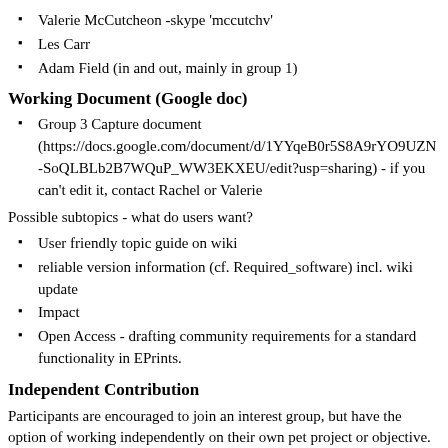Valerie McCutcheon -skype 'mccutchv'
Les Carr
Adam Field (in and out, mainly in group 1)
Working Document (Google doc)
Group 3 Capture document (https://docs.google.com/document/d/1YYqeB0r5S8A9rYO9UZN-SoQLBLb2B7WQuP_WW3EKXEU/edit?usp=sharing) - if you can't edit it, contact Rachel or Valerie
Possible subtopics - what do users want?
User friendly topic guide on wiki
reliable version information (cf. Required_software) incl. wiki update
Impact
Open Access - drafting community requirements for a standard functionality in EPrints.
Independent Contribution
Participants are encouraged to join an interest group, but have the option of working independently on their own pet project or objective. Please put your name in the members list below, with a